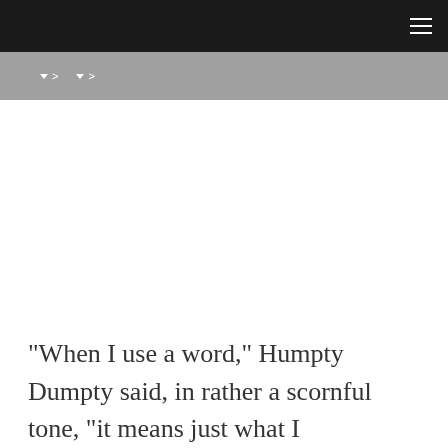▼ > ▼ >
"When I use a word," Humpty Dumpty said, in rather a scornful tone, "it means just what I